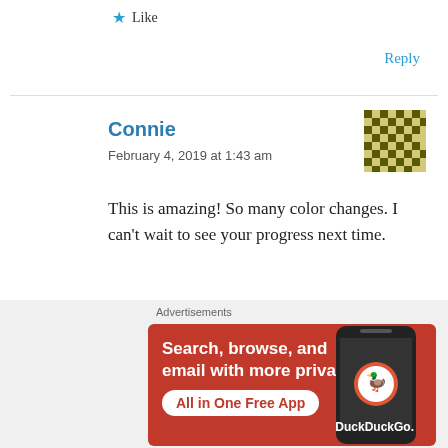★ Like
Reply
Connie
February 4, 2019 at 1:43 am
[Figure (illustration): Pixelated avatar with olive/gray checkerboard pattern]
This is amazing! So many color changes. I can't wait to see your progress next time.
★ Like
[Figure (screenshot): DuckDuckGo advertisement banner with orange background. Text: 'Search, browse, and email with more privacy. All in One Free App' with a phone graphic and DuckDuckGo logo.]